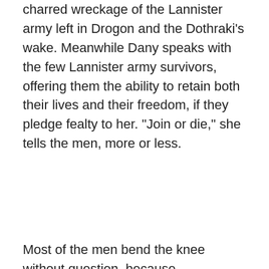charred wreckage of the Lannister army left in Drogon and the Dothraki’s wake. Meanwhile Dany speaks with the few Lannister army survivors, offering them the ability to retain both their lives and their freedom, if they pledge fealty to her. “Join or die,” she tells the men, more or less.
Most of the men bend the knee without question, because